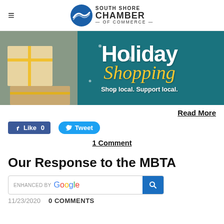South Shore Chamber of Commerce
[Figure (photo): Holiday Shopping banner image with gift boxes on teal background, text: Holiday Shopping - Shop local. Support local.]
Read More
Like 0   Tweet
1 Comment
Our Response to the MBTA
ENHANCED BY Google [search box]
11/23/2020   0 COMMENTS